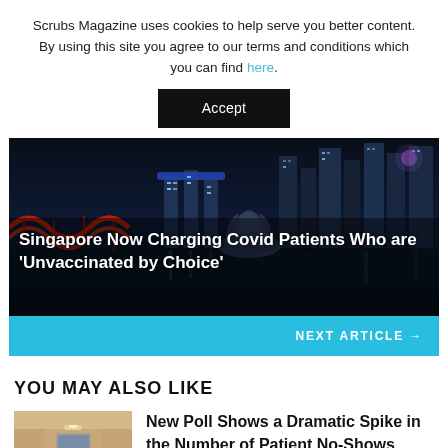Scrubs Magazine uses cookies to help serve you better content. By using this site you agree to our terms and conditions which you can find here.
Accept
[Figure (photo): Night skyline of Singapore's Marina Bay area with illuminated skyscrapers, ArtScience Museum, and the Helix Bridge.]
Singapore Now Charging Covid Patients Who are 'Unvaccinated by Choice'
NEXT ARTICLE →
YOU MAY ALSO LIKE
[Figure (photo): Interior of a medical waiting room with chairs and reception area.]
New Poll Shows a Dramatic Spike in the Number of Patient No-Shows
By HONEY ONG  ⊙  4 hours ago